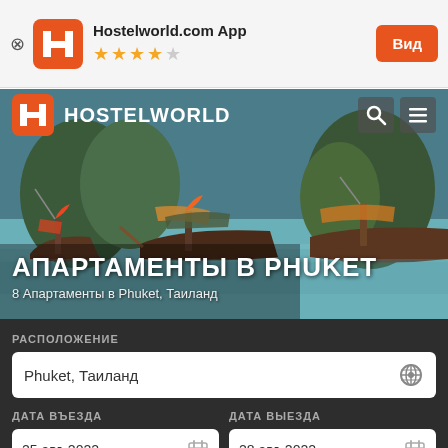[Figure (screenshot): App install banner for Hostelworld.com App with orange H logo, 4-star rating, and orange 'Вид' button]
[Figure (photo): Hero banner with Thai longtail boats on turquoise water, Hostelworld logo and navigation overlay, title 'АПАРТАМЕНТЫ В PHUKET' and subtitle '8 Апартаменты в Phuket, Таиланд']
РАСПОЛОЖЕНИЕ
Phuket, Таиланд
ДАТА ВЪЕЗДА
25 авг. 2022
ДАТА ВЫЕЗДА
28 авг. 2022